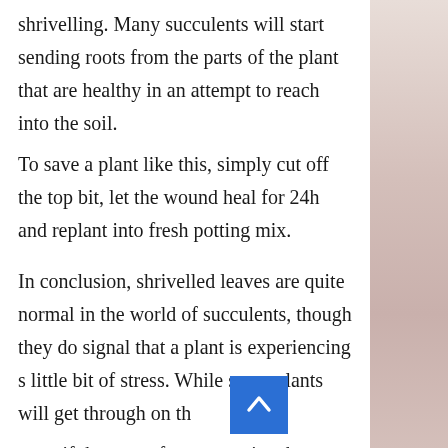shrivelling. Many succulents will start sending roots from the parts of the plant that are healthy in an attempt to reach into the soil. To save a plant like this, simply cut off the top bit, let the wound heal for 24h and replant into fresh potting mix.

In conclusion, shrivelled leaves are quite normal in the world of succulents, though they do signal that a plant is experiencing s little bit of stress. While some plants will get through on their own, if the stress factors persist, they